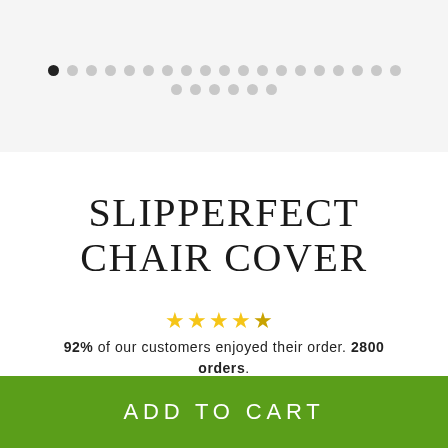[Figure (other): Pagination dots indicator with first dot active (dark) and remaining dots gray, arranged in two rows]
SLIPPERFECT CHAIR COVER
92% of our customers enjoyed their order. 2800 orders.
$19.95
ADD TO CART